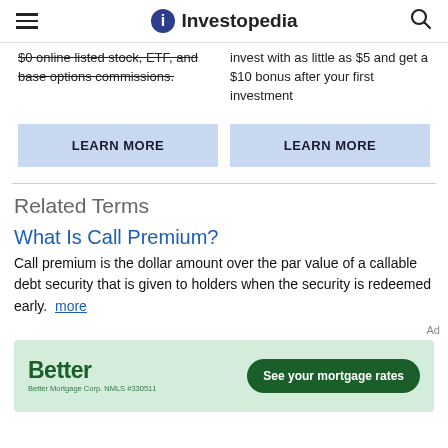Investopedia
$0 online listed stock, ETF, and base options commissions.
invest with as little as $5 and get a $10 bonus after your first investment
LEARN MORE
LEARN MORE
Related Terms
What Is Call Premium?
Call premium is the dollar amount over the par value of a callable debt security that is given to holders when the security is redeemed early. more
[Figure (infographic): Better Mortgage ad banner with green background, Better logo, and 'See your mortgage rates' button]